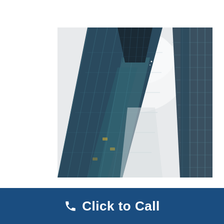[Figure (photo): Upward-looking (worm's-eye view) photograph of modern glass skyscrapers converging toward a bright white overcast sky. Two tall glass-and-steel towers dominate the left and right sides, with a third building visible at the top center. The glass facades show reflective teal and blue tones with grid-like window patterns.]
Click to Call